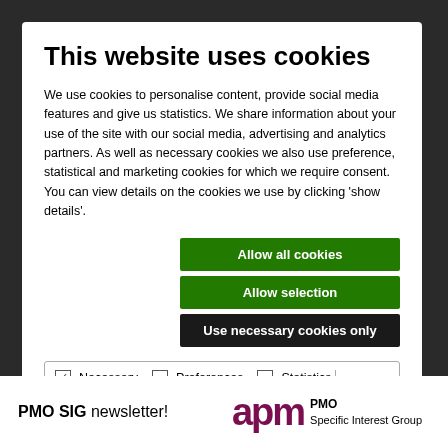This website uses cookies
We use cookies to personalise content, provide social media features and give us statistics. We share information about your use of the site with our social media, advertising and analytics partners. As well as necessary cookies we also use preference, statistical and marketing cookies for which we require consent.  You can view details on the cookies we use by clicking ‘show details’.
Allow all cookies
Allow selection
Use necessary cookies only
Necessary  Preferences  Statistics  Marketing  Show details
[Figure (logo): APM PMO Specific Interest Group logo with purple apm letters]
PMO SIG newsletter!